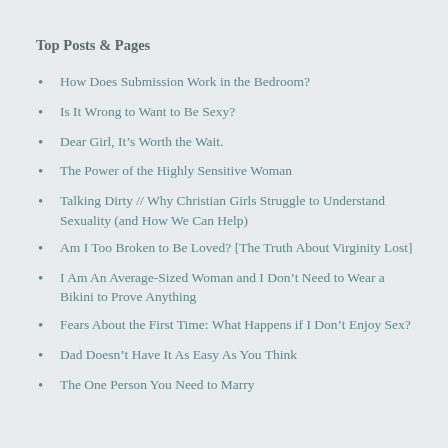Top Posts & Pages
How Does Submission Work in the Bedroom?
Is It Wrong to Want to Be Sexy?
Dear Girl, It’s Worth the Wait.
The Power of the Highly Sensitive Woman
Talking Dirty // Why Christian Girls Struggle to Understand Sexuality (and How We Can Help)
Am I Too Broken to Be Loved? [The Truth About Virginity Lost]
I Am An Average-Sized Woman and I Don’t Need to Wear a Bikini to Prove Anything
Fears About the First Time: What Happens if I Don’t Enjoy Sex?
Dad Doesn’t Have It As Easy As You Think
The One Person You Need to Marry